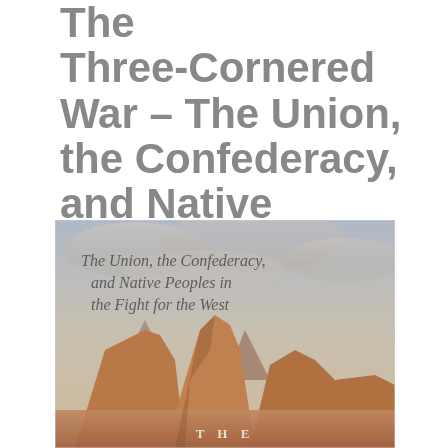The Three-Cornered War – The Union, the Confederacy, and Native Peoples in the Fight for the West"
[Figure (illustration): Book cover image showing a dramatic western landscape with rocky buttes and a cloudy sky. Text on cover reads 'The Union, the Confederacy, and Native Peoples in the Fight for the West' in a serif italic font, with 'THE' at the bottom in spaced capital letters.]